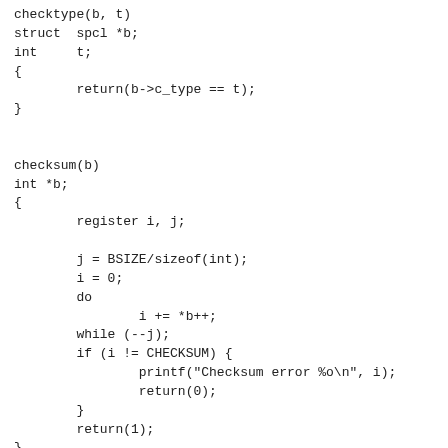checktype(b, t)
struct  spcl *b;
int     t;
{
        return(b->c_type == t);
}


checksum(b)
int *b;
{
        register i, j;

        j = BSIZE/sizeof(int);
        i = 0;
        do
                i += *b++;
        while (--j);
        if (i != CHECKSUM) {
                printf("Checksum error %o\n", i);
                return(0);
        }
        return(1);
}

checkvol(b, t)
struct spcl *b;
int t;
{
        if (b->c_volume == t)